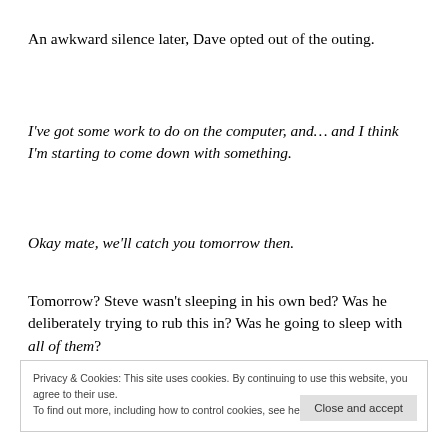An awkward silence later, Dave opted out of the outing.
I've got some work to do on the computer, and... and I think I'm starting to come down with something.
Okay mate, we'll catch you tomorrow then.
Tomorrow? Steve wasn't sleeping in his own bed? Was he deliberately trying to rub this in? Was he going to sleep with all of them?
Privacy & Cookies: This site uses cookies. By continuing to use this website, you agree to their use. To find out more, including how to control cookies, see here: Cookie Policy